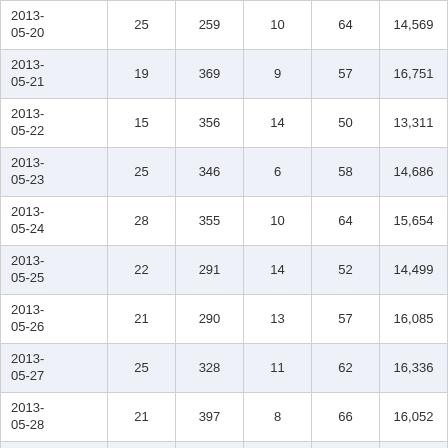| 2013-05-20 | 25 | 259 | 10 | 64 | 14,569 |
| 2013-05-21 | 19 | 369 | 9 | 57 | 16,751 |
| 2013-05-22 | 15 | 356 | 14 | 50 | 13,311 |
| 2013-05-23 | 25 | 346 | 6 | 58 | 14,686 |
| 2013-05-24 | 28 | 355 | 10 | 64 | 15,654 |
| 2013-05-25 | 22 | 291 | 14 | 52 | 14,499 |
| 2013-05-26 | 21 | 290 | 13 | 57 | 16,085 |
| 2013-05-27 | 25 | 328 | 11 | 62 | 16,336 |
| 2013-05-28 | 21 | 397 | 8 | 66 | 16,052 |
| 2013-05-29 | 42 | 463 | 21 | 71 | 17,070 |
| 2013-05-30 | 25 | 432 | 9 | 63 | 19,614 |